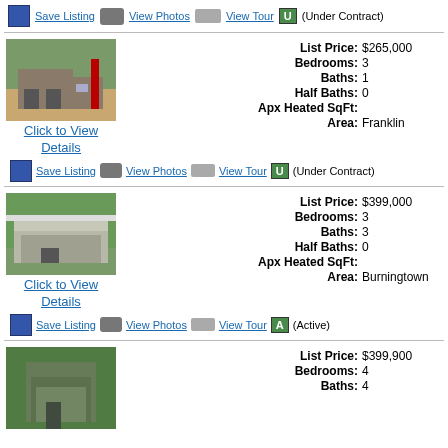Save Listing  View Photos  View Tour U (Under Contract)
[Figure (photo): Exterior photo of a house with trees in background]
Click to View Details
List Price: $265,000
Bedrooms: 3
Baths: 1
Half Baths: 0
Apx Heated SqFt:
Area: Franklin
Save Listing  View Photos  View Tour U (Under Contract)
[Figure (photo): Exterior photo of a two-story house with porch]
Click to View Details
List Price: $399,000
Bedrooms: 3
Baths: 3
Half Baths: 0
Apx Heated SqFt:
Area: Burningtown
Save Listing  View Photos  View Tour A (Active)
[Figure (photo): Exterior photo of a house with trees]
List Price: $399,900
Bedrooms: 4
Baths: 4